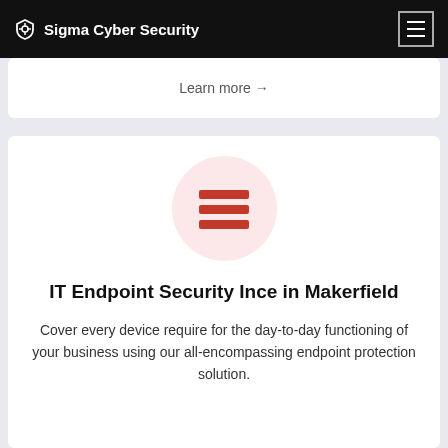Sigma Cyber Security
Learn more →
[Figure (illustration): Pink circle icon containing three horizontal red bars representing a menu or list symbol]
IT Endpoint Security Ince in Makerfield
Cover every device require for the day-to-day functioning of your business using our all-encompassing endpoint protection solution.